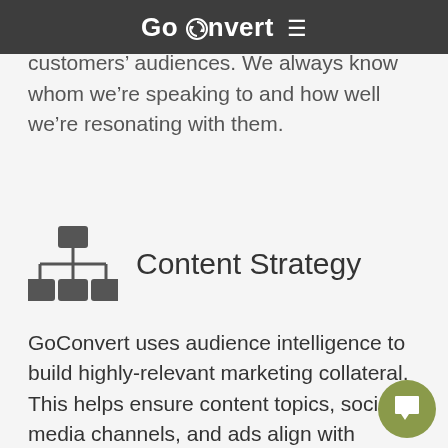GoConvert
vendor data to help fine-tune our customers' audiences. We always know whom we're speaking to and how well we're resonating with them.
Content Strategy
GoConvert uses audience intelligence to build highly-relevant marketing collateral. This helps ensure content topics, social media channels, and ads align with known audience variables. Now, marketing spending has the potential to generate exponential returns.